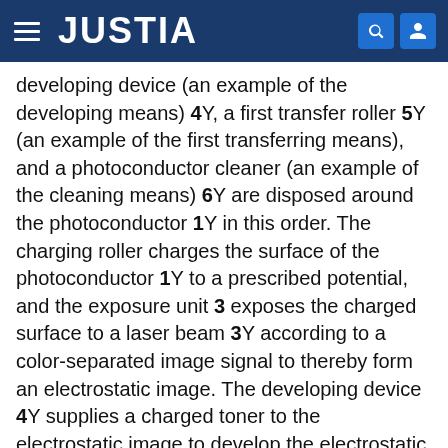JUSTIA
developing device (an example of the developing means) 4Y, a first transfer roller 5Y (an example of the first transferring means), and a photoconductor cleaner (an example of the cleaning means) 6Y are disposed around the photoconductor 1Y in this order. The charging roller charges the surface of the photoconductor 1Y to a prescribed potential, and the exposure unit 3 exposes the charged surface to a laser beam 3Y according to a color-separated image signal to thereby form an electrostatic image. The developing device 4Y supplies a charged toner to the electrostatic image to develop the electrostatic image, and the first transfer roller 5Y transfers the developed toner image onto the intermediate transfer belt 20. The photoconductor cleaner 6Y removes the toner remaining on the surface of the photoconductor 1Y after the first transfer.